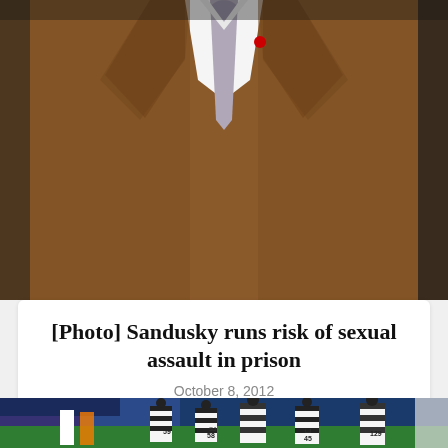[Figure (photo): Close-up photo of a man in a brown suede blazer and grey/lavender tie with white dress shirt, torso and lower face visible]
[Photo] Sandusky runs risk of sexual assault in prison
October 8, 2012
[Figure (photo): Football game scene with referees in striped uniforms numbered 59, 5, 45, 129, and players on the field including jersey numbers 10 and 12, stadium crowd visible in background]